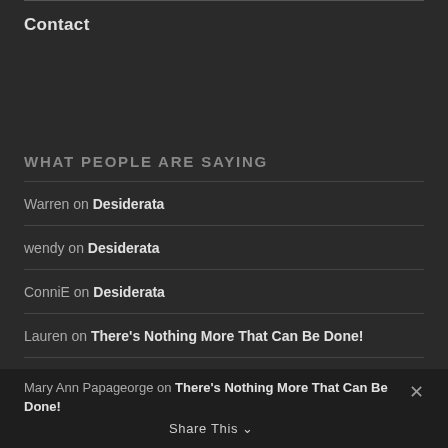Contact
WHAT PEOPLE ARE SAYING
Warren on Desiderata
wendy on Desiderata
ConniE on Desiderata
Lauren on There's Nothing More That Can Be Done!
Mary Ann Papageorge on There's Nothing More That Can Be Done!
Share This